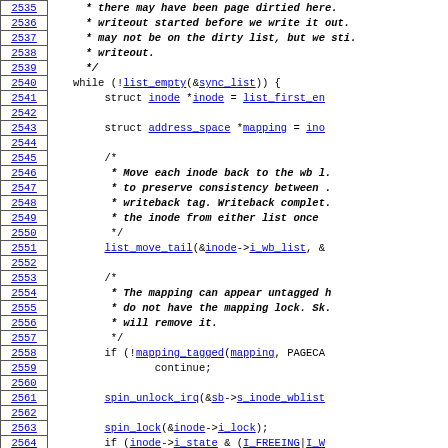[Figure (screenshot): Source code listing showing C kernel code lines 2535-2565, with line numbers on left and code on right, monospace font, hyperlinked identifiers in blue underline]